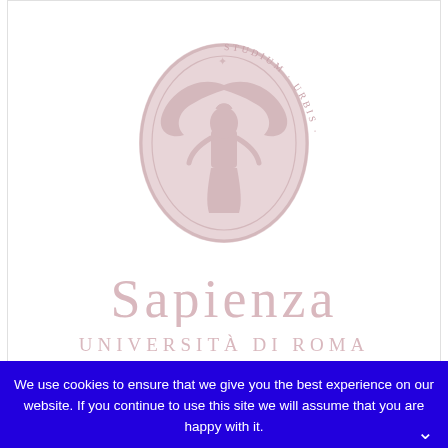[Figure (logo): Sapienza Università di Roma logo: an oval emblem with a winged figure (Minerva/Athena) and Latin text 'STUDIUM URBIS' around the border, in pale rose/pink color, above the text 'SAPIENZA' in large serif font and 'UNIVERSITÀ DI ROMA' in smaller spaced capitals, all in the same muted rose/pink color.]
We use cookies to ensure that we give you the best experience on our website. If you continue to use this site we will assume that you are happy with it.